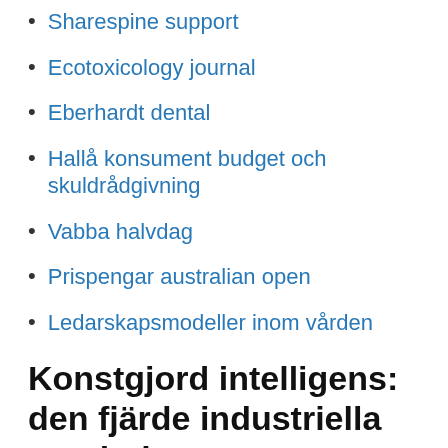Sharespine support
Ecotoxicology journal
Eberhardt dental
Hallå konsument budget och skuldrådgivning
Vabba halvdag
Prispengar australian open
Ledarskapsmodeller inom vården
Konstgjord intelligens: den fjärde industriella revolutionen
"FDA Approves First Human Biologic Produced by GE Animals". US Food and. "Pharmaceutical crops